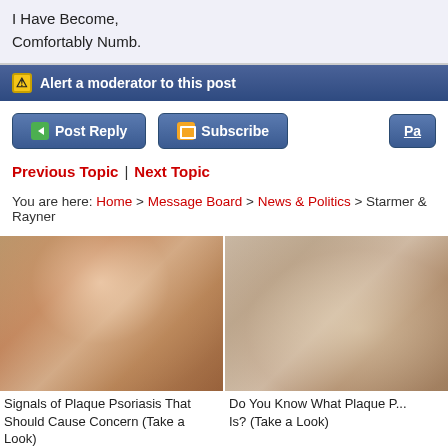I Have Become,
Comfortably Numb.
⚠ Alert a moderator to this post
Post Reply | Subscribe | Pa
Previous Topic | Next Topic
You are here: Home > Message Board > News & Politics > Starmer & Rayner
[Figure (photo): Close-up photograph of a fingernail showing signs of plaque psoriasis]
Signals of Plaque Psoriasis That Should Cause Concern (Take a Look)
[Figure (photo): Photograph of a foot/ankle showing signs of plaque psoriasis]
Do You Know What Plaque P... Is? (Take a Look)